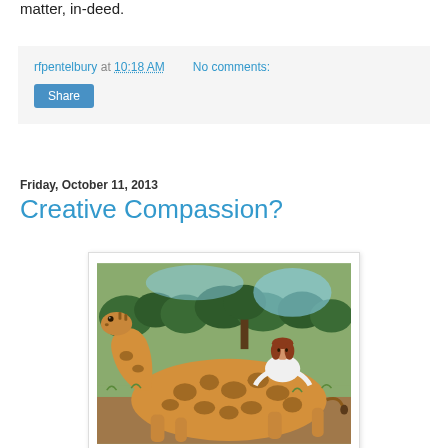matter, in-deed.
rfpentelbury at 10:18 AM   No comments:
Share
Friday, October 11, 2013
Creative Compassion?
[Figure (photo): A woman posing behind a downed giraffe lying on the ground in an African bush setting with trees in the background. The giraffe appears to be dead, lying on its side. The woman is wearing a white shirt and is seated behind the giraffe's body.]